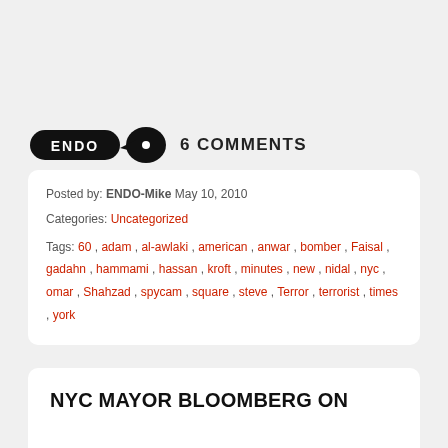[Figure (logo): ENDO logo with speech bubble icon]
6 COMMENTS
Posted by: ENDO-Mike May 10, 2010
Categories: Uncategorized
Tags: 60 , adam , al-awlaki , american , anwar , bomber , Faisal , gadahn , hammami , hassan , kroft , minutes , new , nidal , nyc , omar , Shahzad , spycam , square , steve , Terror , terrorist , times , york
NYC MAYOR BLOOMBERG ON